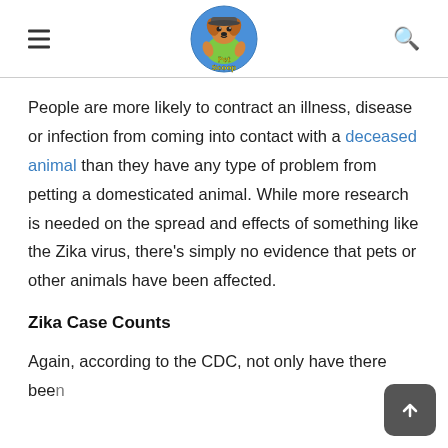Pet Scoop (logo with hamburger menu and search icon)
People are more likely to contract an illness, disease or infection from coming into contact with a deceased animal than they have any type of problem from petting a domesticated animal. While more research is needed on the spread and effects of something like the Zika virus, there's simply no evidence that pets or other animals have been affected.
Zika Case Counts
Again, according to the CDC, not only have there been